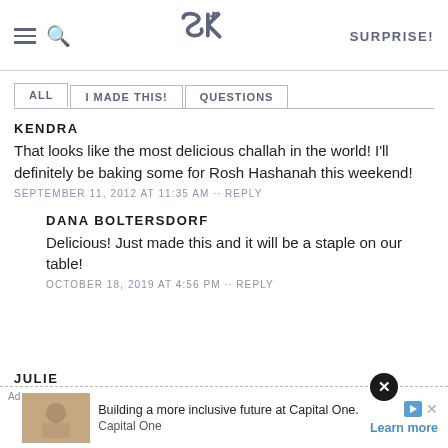SK — SURPRISE!
ALL | I MADE THIS! | QUESTIONS
KENDRA
That looks like the most delicious challah in the world! I'll definitely be baking some for Rosh Hashanah this weekend!
SEPTEMBER 11, 2012 AT 11:35 AM · · REPLY
DANA BOLTERSDORF
Delicious! Just made this and it will be a staple on our table!
OCTOBER 18, 2019 AT 4:56 PM · · REPLY
JULIE
[Figure (screenshot): Ad banner: Building a more inclusive future at Capital One. Capital One. Learn more.]